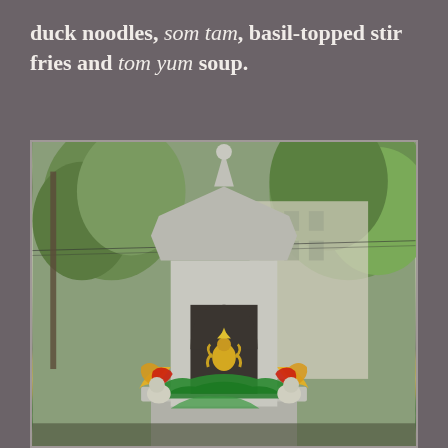duck noodles, som tam, basil-topped stir fries and tom yum soup.
[Figure (photo): Outdoor Thai spirit house shrine with a grey concrete tower structure featuring an arched niche containing a small golden Buddha/deity figurine. The shrine is decorated with colorful fabric offerings in green, red, and yellow. Trees and a building are visible in the background.]